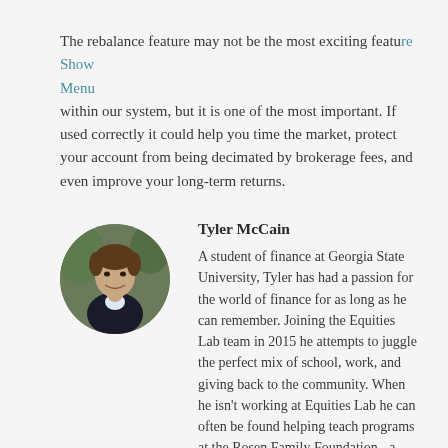The rebalance feature may not be the most exciting feature within our system, but it is one of the most important. If used correctly it could help you time the market, protect your account from being decimated by brokerage fees, and even improve your long-term returns.
[Figure (photo): Circular profile photo of Tyler McCain, a young man in a dark jacket smiling, with foliage in the background.]
Tyler McCain
A student of finance at Georgia State University, Tyler has had a passion for the world of finance for as long as he can remember. Joining the Equities Lab team in 2015 he attempts to juggle the perfect mix of school, work, and giving back to the community. When he isn't working at Equities Lab he can often be found helping teach programs at the Rosen Family Foundation - a non-profit that teaches financial literacy to middle and high school students.